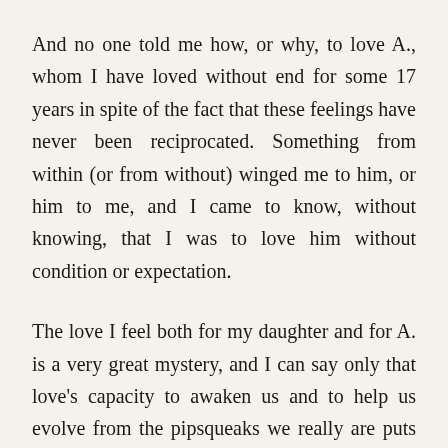And no one told me how, or why, to love A., whom I have loved without end for some 17 years in spite of the fact that these feelings have never been reciprocated. Something from within (or from without) winged me to him, or him to me, and I came to know, without knowing, that I was to love him without condition or expectation.
The love I feel both for my daughter and for A. is a very great mystery, and I can say only that love's capacity to awaken us and to help us evolve from the pipsqueaks we really are puts into perspective the shallow affairs of nasty men, who, like the rest of us, will one day fall to dust.